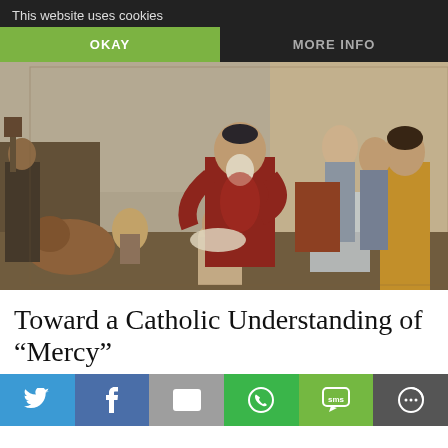This website uses cookies
OKAY   MORE INFO
[Figure (illustration): Baroque painting depicting the Parable of the Prodigal Son: an elderly bearded man in a red robe embraces a kneeling young man, surrounded by several other figures including servants and onlookers, with an animal visible on the left.]
Toward a Catholic Understanding of “Mercy”
[Figure (infographic): Social sharing bar with six buttons: Twitter (blue bird icon), Facebook (blue f icon), Email (grey envelope icon), WhatsApp (green phone icon), SMS (green SMS icon), More (dark circle icon)]